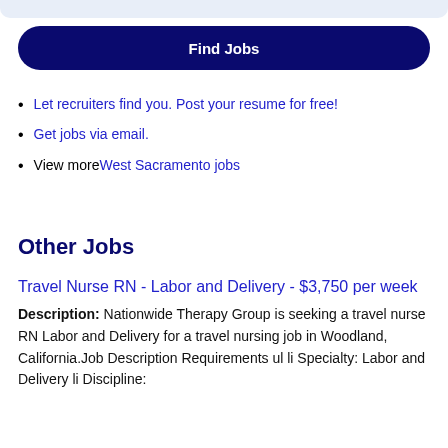[Figure (other): Top decorative bar with light blue/gray rounded bottom edge]
Find Jobs
Let recruiters find you. Post your resume for free!
Get jobs via email.
View more West Sacramento jobs
Other Jobs
Travel Nurse RN - Labor and Delivery - $3,750 per week
Description: Nationwide Therapy Group is seeking a travel nurse RN Labor and Delivery for a travel nursing job in Woodland, California.Job Description Requirements ul li Specialty: Labor and Delivery li Discipline: